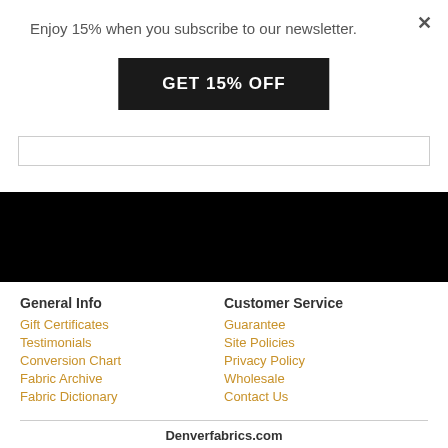×
Enjoy 15% when you subscribe to our newsletter.
GET 15% OFF
General Info
Gift Certificates
Testimonials
Conversion Chart
Fabric Archive
Fabric Dictionary
Customer Service
Guarantee
Site Policies
Privacy Policy
Wholesale
Contact Us
Denverfabrics.com